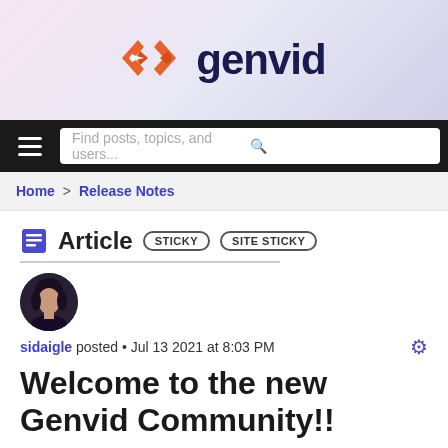[Figure (logo): Genvid logo with orange diamond arrow icon and dark navy text reading 'genvid']
Find posts, topics, and users...
Home > Release Notes
Article STICKY SITE STICKY
[Figure (photo): Circular avatar of a young woman with dark hair]
sidaigle posted • Jul 13 2021 at 8:03 PM
Welcome to the new Genvid Community!!